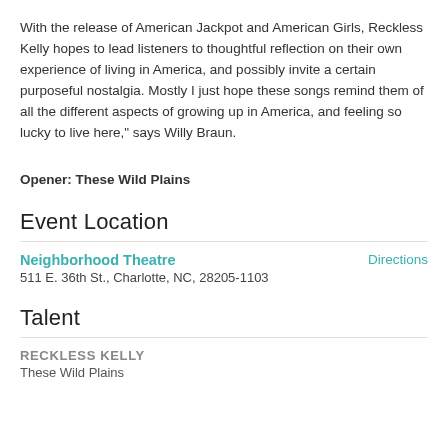With the release of American Jackpot and American Girls, Reckless Kelly hopes to lead listeners to thoughtful reflection on their own experience of living in America, and possibly invite a certain purposeful nostalgia. Mostly I just hope these songs remind them of all the different aspects of growing up in America, and feeling so lucky to live here," says Willy Braun.
Opener: These Wild Plains
Event Location
Neighborhood Theatre
511 E. 36th St., Charlotte, NC, 28205-1103
Directions
Talent
RECKLESS KELLY
These Wild Plains